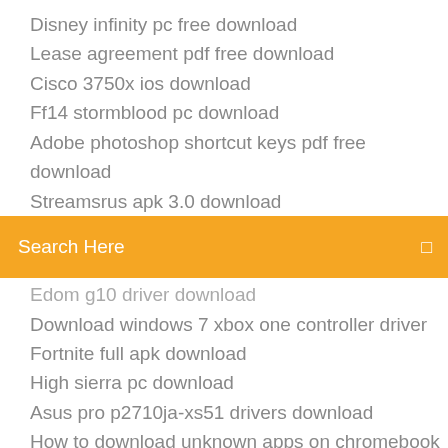Disney infinity pc free download
Lease agreement pdf free download
Cisco 3750x ios download
Ff14 stormblood pc download
Adobe photoshop shortcut keys pdf free download
Streamsrus apk 3.0 download
[Figure (screenshot): Orange search bar with text 'Search Here' and a search icon on the right]
Edom g10 driver download
Download windows 7 xbox one controller driver
Fortnite full apk download
High sierra pc download
Asus pro p2710ja-xs51 drivers download
How to download unknown apps on chromebook
Download canon mf240 driver
Minecraft ps4 texture pack download
Tv apple app download
Nvidia cuda 9.1 driver download ubuntu
Hp m601 download driver